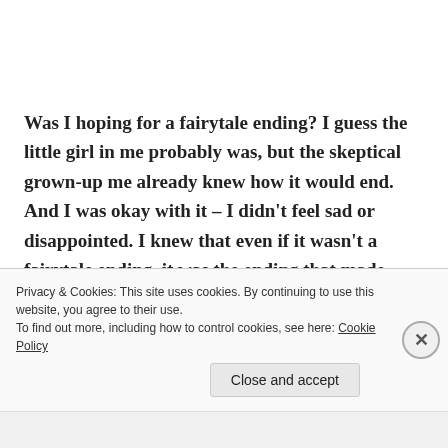Was I hoping for a fairytale ending? I guess the little girl in me probably was, but the skeptical grown-up me already knew how it would end. And I was okay with it – I didn't feel sad or disappointed. I knew that even if it wasn't a fairytale ending, it was the ending that made perfect sense.

But do you want to know what the best part of the night
Privacy & Cookies: This site uses cookies. By continuing to use this website, you agree to their use.
To find out more, including how to control cookies, see here: Cookie Policy
Close and accept